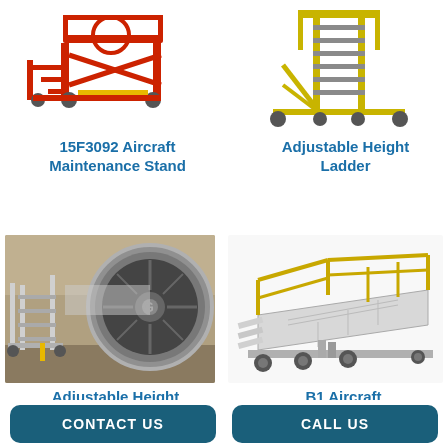[Figure (photo): Red aircraft maintenance stand with stairs and platform on wheels]
15F3092 Aircraft Maintenance Stand
[Figure (photo): Yellow adjustable height ladder with stairs on wheels]
Adjustable Height Ladder
[Figure (photo): Adjustable height maintenance stand next to a large aircraft jet engine in a hangar]
[Figure (photo): B1 Aircraft platform with yellow railings on wheels]
Adjustable Height
B1 Aircraft
CONTACT US
CALL US